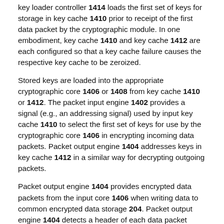key loader controller 1414 loads the first set of keys for storage in key cache 1410 prior to receipt of the first data packet by the cryptographic module. In one embodiment, key cache 1410 and key cache 1412 are each configured so that a key cache failure causes the respective key cache to be zeroized.
Stored keys are loaded into the appropriate cryptographic core 1406 or 1408 from key cache 1410 or 1412. The packet input engine 1402 provides a signal (e.g., an addressing signal) used by input key cache 1410 to select the first set of keys for use by the cryptographic core 1406 in encrypting incoming data packets. Packet output engine 1404 addresses keys in key cache 1412 in a similar way for decrypting outgoing packets.
Packet output engine 1404 provides encrypted data packets from the input core 1406 when writing data to common encrypted data storage 204. Packet output engine 1404 detects a header of each data packet when reading from the common encrypted data storage 204 in order to address a set of keys in output key cache 1412 for decrypting each data packet by output core 1408. Output core 1408 provides the decrypted data packets to packet